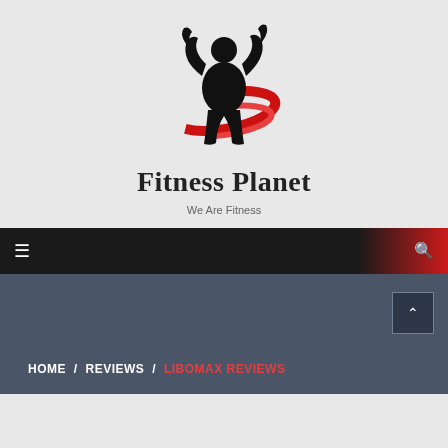[Figure (logo): Fitness Planet logo: black muscular figure flexing with red swoosh arcs around it]
Fitness Planet
We Are Fitness
[Figure (other): Navigation bar with dark-to-red gradient, hamburger menu icon on left, search icon on right]
[Figure (other): Dark slate breadcrumb area with scroll-to-top button and breadcrumb navigation: HOME / REVIEWS / LIBOMAX REVIEWS]
HOME / REVIEWS / LIBOMAX REVIEWS